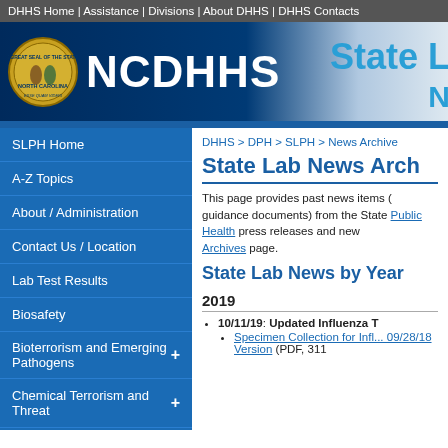DHHS Home | Assistance | Divisions | About DHHS | DHHS Contacts
[Figure (logo): NCDHHS logo with North Carolina state seal and 'NCDHHS' text, with 'State L...' text partially visible on right]
SLPH Home
A-Z Topics
About / Administration
Contact Us / Location
Lab Test Results
Biosafety
Bioterrorism and Emerging Pathogens +
Chemical Terrorism and Threat +
CLIA Contract Program for LHDs +
DHHS > DPH > SLPH > News Archive
State Lab News Arch...
This page provides past news items (guidance documents) from the State Public Health press releases and news Archives page.
State Lab News by Year
2019
10/11/19: Updated Influenza T...
Specimen Collection for Inf... 09/28/18 Version (PDF, 311...